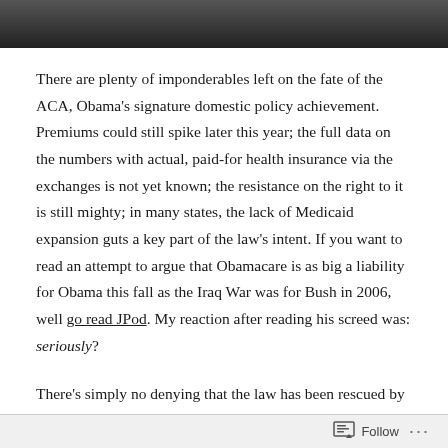[Figure (photo): Partial photo visible at top of page, dark tones, appears to show people outdoors]
There are plenty of imponderables left on the fate of the ACA, Obama's signature domestic policy achievement. Premiums could still spike later this year; the full data on the numbers with actual, paid-for health insurance via the exchanges is not yet known; the resistance on the right to it is still mighty; in many states, the lack of Medicaid expansion guts a key part of the law's intent. If you want to read an attempt to argue that Obamacare is as big a liability for Obama this fall as the Iraq War was for Bush in 2006, well go read JPod. My reaction after reading his screed was: seriously?
There's simply no denying that the law has been rescued by an impressive post-fiasco operation that did to ACA-opponents what the Obama campaign did to the Clintons in 2008 and to Romney in 2012. Obama out-muscled the nay-sayers on the ground. I have a feeling that this has yet to fully sink in with
Follow